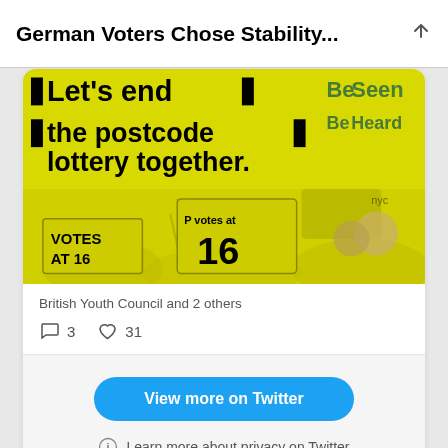German Voters Chose Stability...
[Figure (photo): Yellow-tinted protest photo with text overlay reading 'Let's end the postcode lottery together.' with protest signs including 'VOTES AT 16' and 'P votes at 16' in the background. Signs also show 'Be Seen' and 'Be Heard' text.]
British Youth Council and 2 others
3  31
View more on Twitter
Learn more about privacy on Twitter